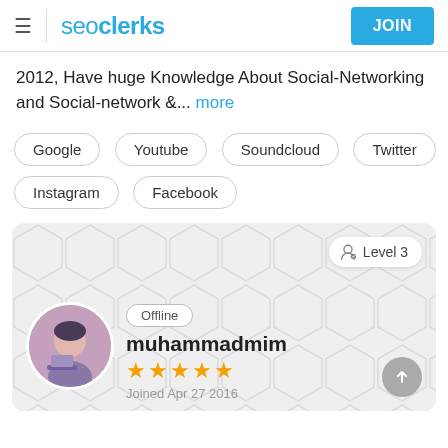seoclerks — JOIN
2012, Have huge Knowledge About Social-Networking and Social-network &... more
Google
Youtube
Soundcloud
Twitter
Instagram
Facebook
[Figure (infographic): Profile card with hexagon background pattern, Level 3 badge, user avatar photo, Offline badge, username muhammadmim, 5 gold stars, Joined Apr 27 2016, scroll-to-top button]